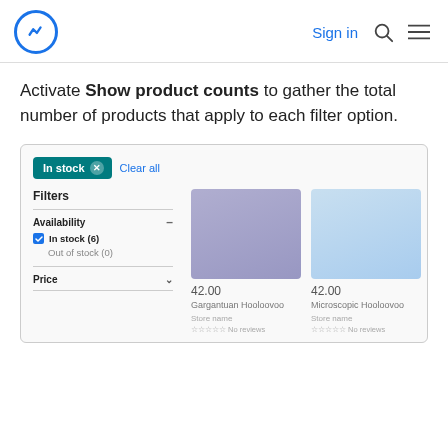Sign in | Search | Menu
Activate Show product counts to gather the total number of products that apply to each filter option.
[Figure (screenshot): E-commerce product listing screenshot showing a filter panel on the left with 'In stock (6)' and 'Out of stock (0)' options under Availability, a Price section, and two product cards on the right labeled 'Gargantuan Hooloovoo' and 'Microscopic Hooloovoo' both priced at 42.00 with No reviews.]